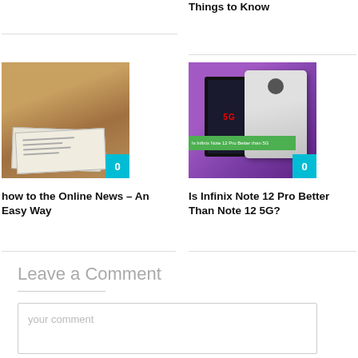Things to Know
[Figure (photo): Newspaper/print media image with cyan badge showing 0]
how to the Online News – An Easy Way
[Figure (photo): Infinix Note 12 Pro phone comparison image on purple background with cyan badge showing 0]
Is Infinix Note 12 Pro Better Than Note 12 5G?
Leave a Comment
your comment